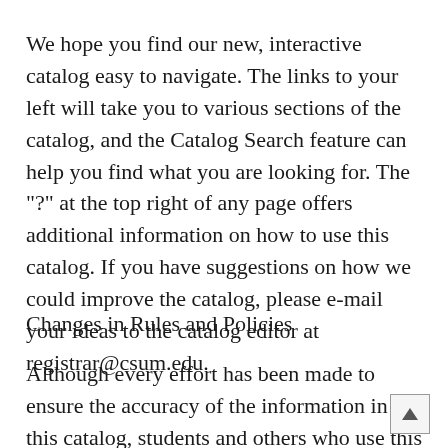We hope you find our new, interactive catalog easy to navigate. The links to your left will take you to various sections of the catalog, and the Catalog Search feature can help you find what you are looking for. The "?" at the top right of any page offers additional information on how to use this catalog. If you have suggestions on how we could improve the catalog, please e-mail your ideas to the catalog editor at registrar@csum.edu.
Changes in Rules and Policies
Although every effort has been made to ensure the accuracy of the information in this catalog, students and others who use this catalog should